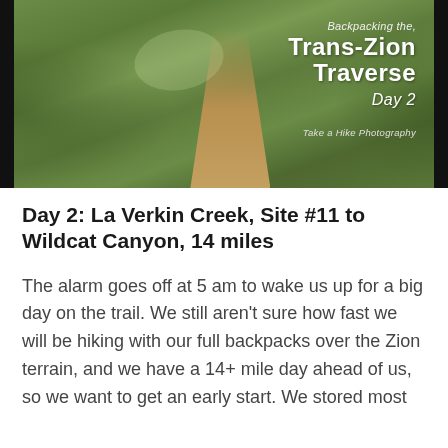[Figure (photo): A dirt trail winding through green sagebrush and grass, with text overlay reading 'Backpacking the Trans-Zion Traverse Day 2 — Take a Hike Photography']
Day 2: La Verkin Creek, Site #11 to Wildcat Canyon, 14 miles
The alarm goes off at 5 am to wake us up for a big day on the trail. We still aren't sure how fast we will be hiking with our full backpacks over the Zion terrain, and we have a 14+ mile day ahead of us, so we want to get an early start. We stored most